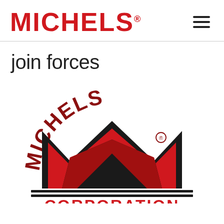MICHELS®
join forces
[Figure (logo): Michels Corporation logo — arched red text 'MICHELS' over a large red M chevron mark with black outline and double horizontal rules, with 'CORPORATION' in red block letters below]